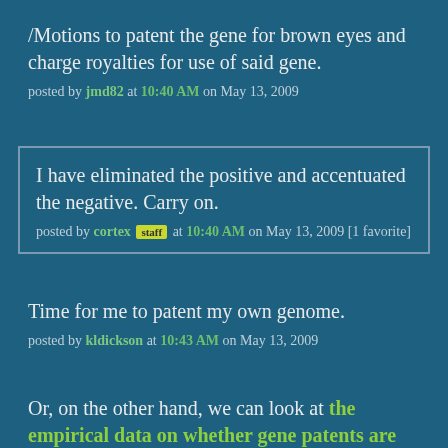/Motions to patent the gene for brown eyes and charge royalties for use of said gene.
posted by jmd82 at 10:40 AM on May 13, 2009
I have eliminated the positive and accentuated the negative. Carry on.
posted by cortex [staff] at 10:40 AM on May 13, 2009 [1 favorite]
Time for me to patent my own genome.
posted by kldickson at 10:43 AM on May 13, 2009
Or, on the other hand, we can look at the empirical data on whether gene patents are actually causing these problems, as published in Nature Biotechnology. Short